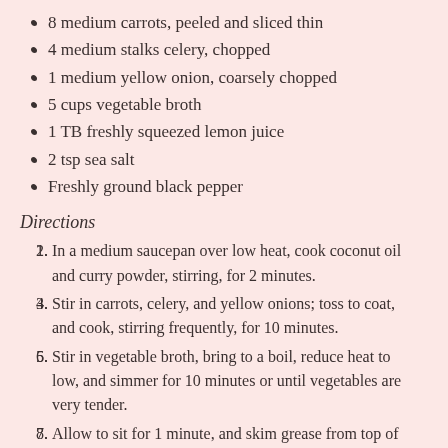8 medium carrots, peeled and sliced thin
4 medium stalks celery, chopped
1 medium yellow onion, coarsely chopped
5 cups vegetable broth
1 TB freshly squeezed lemon juice
2 tsp sea salt
Freshly ground black pepper
Directions
In a medium saucepan over low heat, cook coconut oil and curry powder, stirring, for 2 minutes.
Stir in carrots, celery, and yellow onions; toss to coat, and cook, stirring frequently, for 10 minutes.
Stir in vegetable broth, bring to a boil, reduce heat to low, and simmer for 10 minutes or until vegetables are very tender.
Allow to sit for 1 minute, and skim grease from top of soup.
In a blender, working in batches of no more than 2 cups, puree soup.